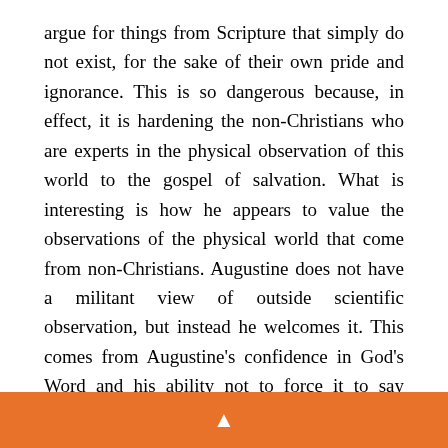argue for things from Scripture that simply do not exist, for the sake of their own pride and ignorance. This is so dangerous because, in effect, it is hardening the non-Christians who are experts in the physical observation of this world to the gospel of salvation. What is interesting is how he appears to value the observations of the physical world that come from non-Christians. Augustine does not have a militant view of outside scientific observation, but instead he welcomes it. This comes from Augustine’s confidence in God’s Word and his ability not to force it to say something that it does not say. We would be wise to heed his advice in this area.
▲